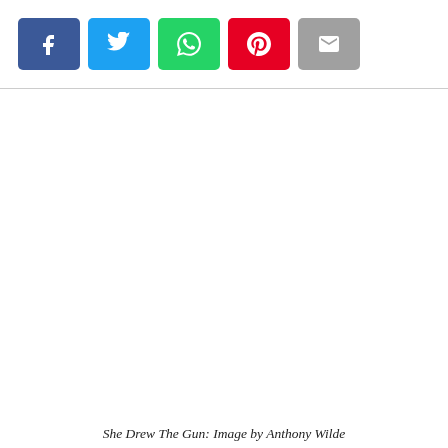[Figure (other): Social media share buttons: Facebook (blue), Twitter (light blue), WhatsApp (green), Pinterest (red), Email (grey)]
She Drew The Gun: Image by Anthony Wilde